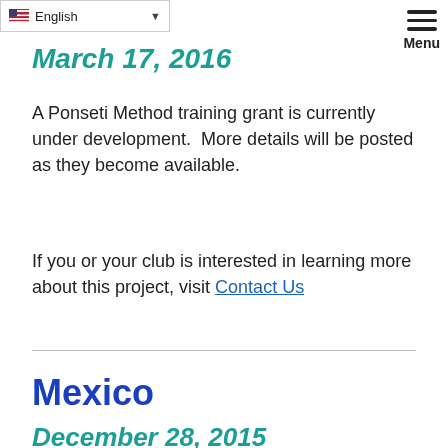English
March 17, 2016
A Ponseti Method training grant is currently under development.  More details will be posted as they become available.
If you or your club is interested in learning more about this project, visit Contact Us
Mexico
December 28, 2015